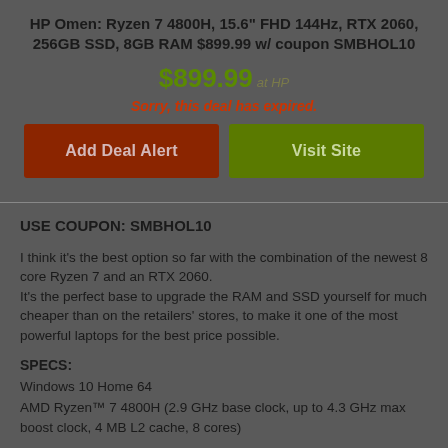HP Omen: Ryzen 7 4800H, 15.6" FHD 144Hz, RTX 2060, 256GB SSD, 8GB RAM $899.99 w/ coupon SMBHOL10
$899.99 at HP
Sorry, this deal has expired.
Add Deal Alert
Visit Site
USE COUPON: SMBHOL10
I think it's the best option so far with the combination of the newest 8 core Ryzen 7 and an RTX 2060.
It's the perfect base to upgrade the RAM and SSD yourself for much cheaper than on the retailers' stores, to make it one of the most powerful laptops for the best price possible.
SPECS:
Windows 10 Home 64
AMD Ryzen™ 7 4800H (2.9 GHz base clock, up to 4.3 GHz max boost clock, 4 MB L2 cache, 8 cores)